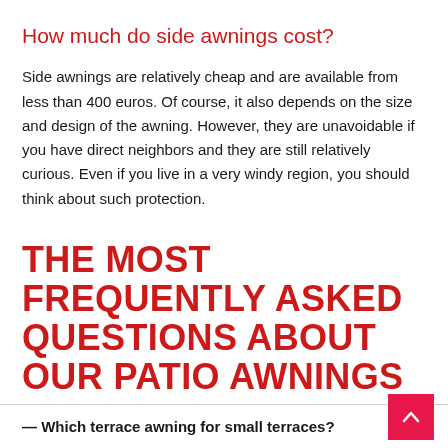How much do side awnings cost?
Side awnings are relatively cheap and are available from less than 400 euros. Of course, it also depends on the size and design of the awning. However, they are unavoidable if you have direct neighbors and they are still relatively curious. Even if you live in a very windy region, you should think about such protection.
THE MOST FREQUENTLY ASKED QUESTIONS ABOUT OUR PATIO AWNINGS
— Which terrace awning for small terraces?